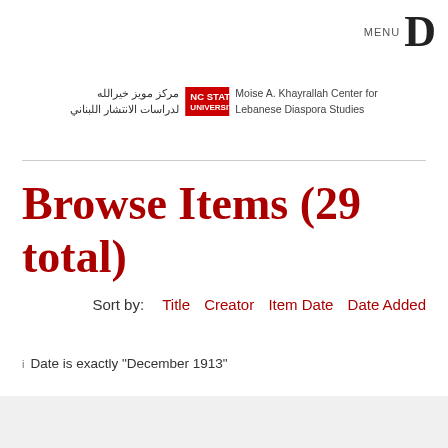MENU D
[Figure (logo): NC State University - Moise A. Khayrallah Center for Lebanese Diaspora Studies logo with Arabic text]
Browse Items (29 total)
Sort by: Title  Creator  Item Date  Date Added
Date is exactly "December 1913"